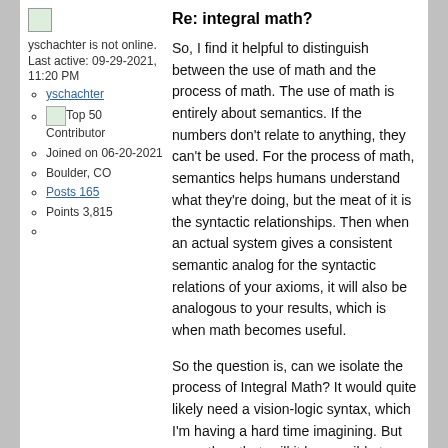Re: integral math?
yschachter is not online. Last active: 09-29-2021, 11:20 PM
yschachter (link)
Top 50 Contributor
Joined on 06-20-2021
Boulder, CO
Posts 165
Points 3,815
So, I find it helpful to distinguish between the use of math and the process of math. The use of math is entirely about semantics. If the numbers don't relate to anything, they can't be used. For the process of math, semantics helps humans understand what they're doing, but the meat of it is the syntactic relationships. Then when an actual system gives a consistent semantic analog for the syntactic relations of your axioms, it will also be analogous to your results, which is when math becomes useful.
So the question is, can we isolate the process of Integral Math? It would quite likely need a vision-logic syntax, which I'm having a hard time imagining. But more than that, will it be possible to syntactically characterize perspectives in such a way that the results of the syntactic